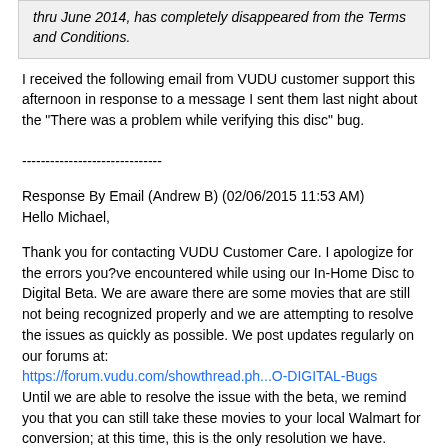thru June 2014, has completely disappeared from the Terms and Conditions.
I received the following email from VUDU customer support this afternoon in response to a message I sent them last night about the "There was a problem while verifying this disc" bug.
------------------------------
Response By Email (Andrew B) (02/06/2015 11:53 AM)
Hello Michael,
Thank you for contacting VUDU Customer Care. I apologize for the errors you?ve encountered while using our In-Home Disc to Digital Beta. We are aware there are some movies that are still not being recognized properly and we are attempting to resolve the issues as quickly as possible. We post updates regularly on our forums at:
https://forum.vudu.com/showthread.ph...O-DIGITAL-Bugs
Until we are able to resolve the issue with the beta, we remind you that you can still take these movies to your local Walmart for conversion; at this time, this is the only resolution we have.
Again, we apologize for the inconvenience but appreciate your patience and assistance in this matter and hope to have a resolution soon.
Best Regards,
Andrew
VUDU Customer Care
7am-8pm PST